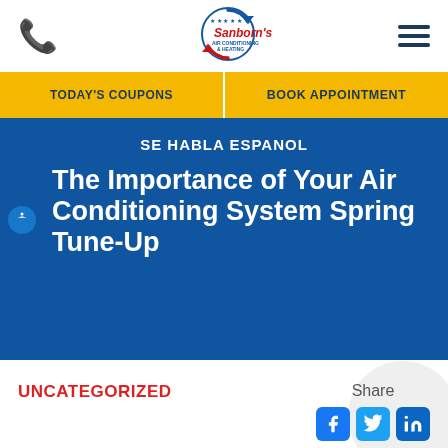[Figure (logo): Sanborn's Air Conditioning & Heating logo with circular arrow emblem]
TODAY'S COUPONS
BOOK APPOINTMENT
SE HABLA ESPANOL
The Importance of Your Air Conditioning System Spring Tune-Up
UNCATEGORIZED
Share